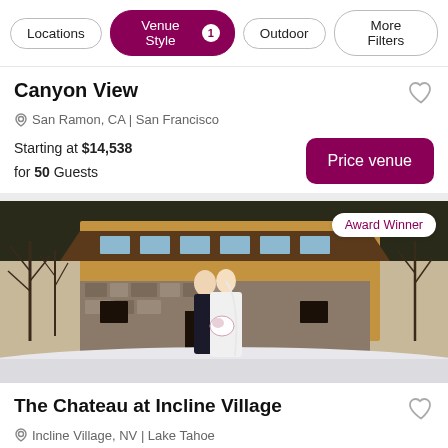Locations | Venue Style 1 | Outdoor | More Filters
Canyon View
San Ramon, CA | San Francisco
Starting at $14,538 for 50 Guests
[Figure (photo): Wedding couple standing in snow in front of a multi-story rustic lodge building with stone and wood architecture. Badge reading Award Winner in top right corner.]
The Chateau at Incline Village
Incline Village, NV | Lake Tahoe
Starting at $4,215